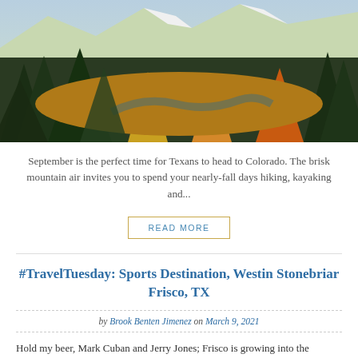[Figure (photo): Mountain landscape with autumn foliage, pine trees, a river, and snow-capped peaks in the background]
September is the perfect time for Texans to head to Colorado. The brisk mountain air invites you to spend your nearly-fall days hiking, kayaking and...
READ MORE
#TravelTuesday: Sports Destination, Westin Stonebriar Frisco, TX
by Brook Benten Jimenez on March 9, 2021
Hold my beer, Mark Cuban and Jerry Jones; Frisco is growing into the ultimate